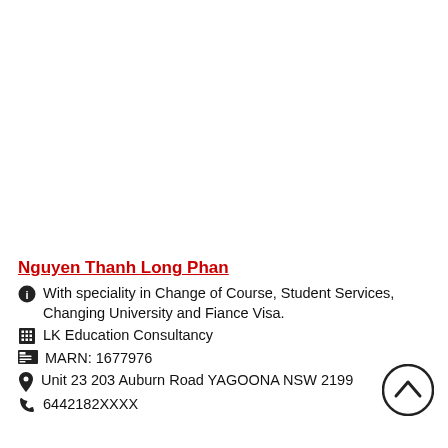Nguyen Thanh Long Phan
With speciality in Change of Course, Student Services, Changing University and Fiance Visa.
LK Education Consultancy
MARN: 1677976
Unit 23 203 Auburn Road YAGOONA NSW 2199
6442182XXXX